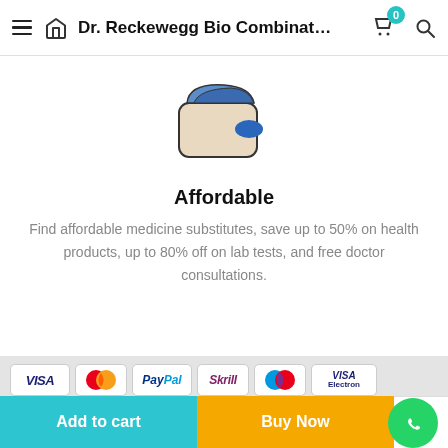Dr. Reckewegg Bio Combinat…
[Figure (illustration): Wallet icon — a blue and beige wallet with a blue oval accent, representing affordable pricing.]
Affordable
Find affordable medicine substitutes, save up to 50% on health products, up to 80% off on lab tests, and free doctor consultations.
[Figure (logo): Payment method logos: VISA, MasterCard, PayPal, Skrill, Maestro, VISA Electron]
Copyright © 2022 The Natural Herbs. All Rights Reserved.